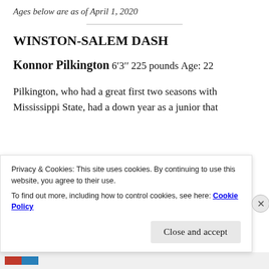Ages below are as of April 1, 2020
WINSTON-SALEM DASH
Konnor Pilkington
6′3′′
225 pounds
Age: 22
Pilkington, who had a great first two seasons with Mississippi State, had a down year as a junior that
Privacy & Cookies: This site uses cookies. By continuing to use this website, you agree to their use.
To find out more, including how to control cookies, see here: Cookie Policy